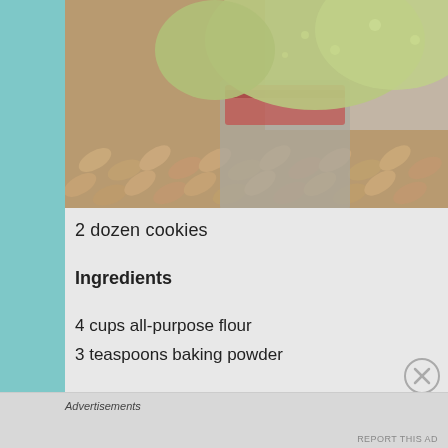[Figure (photo): Photo of green cookies in a bag placed on a woven basket/mat with almonds visible]
2 dozen cookies
Ingredients
4 cups all-purpose flour
3 teaspoons baking powder
Advertisements